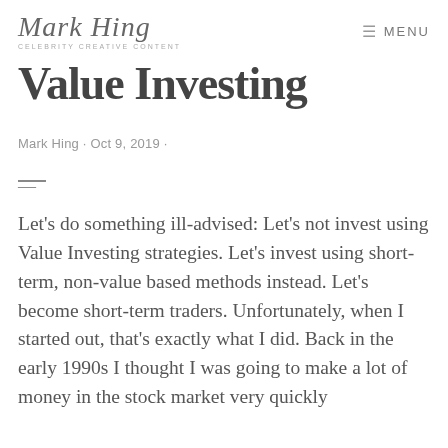Mark Hing · Celebrity Creative Content · MENU
Value Investing
Mark Hing · Oct 9, 2019 ·
—
Let's do something ill-advised: Let's not invest using Value Investing strategies. Let's invest using short-term, non-value based methods instead. Let's become short-term traders. Unfortunately, when I started out, that's exactly what I did. Back in the early 1990s I thought I was going to make a lot of money in the stock market very quickly